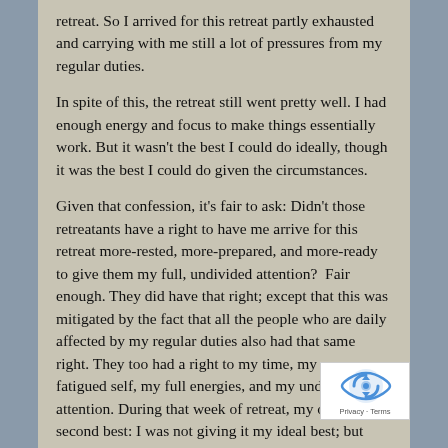retreat. So I arrived for this retreat partly exhausted and carrying with me still a lot of pressures from my regular duties.
In spite of this, the retreat still went pretty well. I had enough energy and focus to make things essentially work. But it wasn't the best I could do ideally, though it was the best I could do given the circumstances.
Given that confession, it's fair to ask: Didn't those retreatants have a right to have me arrive for this retreat more-rested, more-prepared, and more-ready to give them my full, undivided attention?  Fair enough. They did have that right; except that this was mitigated by the fact that all the people who are daily affected by my regular duties also had that same right. They too had a right to my time, my un-fatigued self, my full energies, and my undivided attention. During that week of retreat, my office a got second best: I was not giving it my ideal best; but